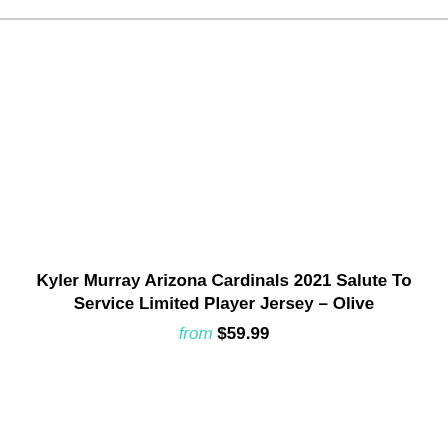Kyler Murray Arizona Cardinals 2021 Salute To Service Limited Player Jersey – Olive
from $59.99